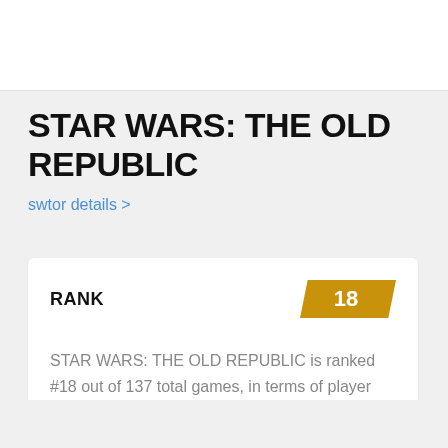STAR WARS: THE OLD REPUBLIC
swtor details >
RANK
18
STAR WARS: THE OLD REPUBLIC is ranked #18 out of 137 total games, in terms of player population.